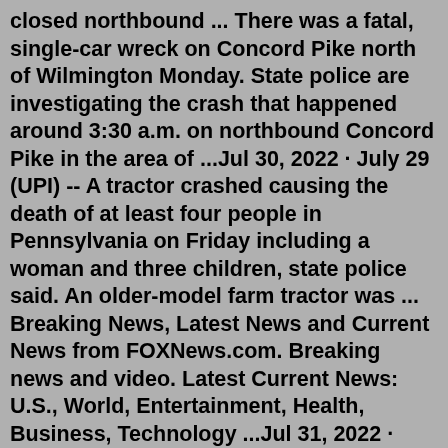closed northbound ... There was a fatal, single-car wreck on Concord Pike north of Wilmington Monday. State police are investigating the crash that happened around 3:30 a.m. on northbound Concord Pike in the area of ...Jul 30, 2022 · July 29 (UPI) -- A tractor crashed causing the death of at least four people in Pennsylvania on Friday including a woman and three children, state police said. An older-model farm tractor was ... Breaking News, Latest News and Current News from FOXNews.com. Breaking news and video. Latest Current News: U.S., World, Entertainment, Health, Business, Technology ...Jul 31, 2022 · Published: Jul. 31, 2022, 9:54 a.m. By. The Associated Press. LEECHBURG, Pa. — A crash during a motorcycle charity ride in western Pennsylvania sent at least eight riders to hospitals ... NASCAR live race coverage, latest news, race results, standings, schedules, and driver stats for Cup, Xfinity, Camping World TruckIncident on I-76 WB near US-202, Drive with caution. TYPE: Accident Minor... Incident on MATLACK ST near LACEY ST...